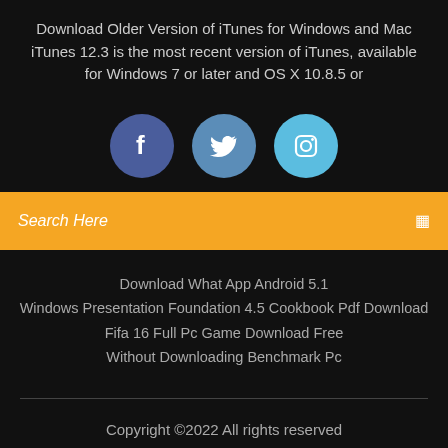Download Older Version of iTunes for Windows and Mac iTunes 12.3 is the most recent version of iTunes, available for Windows 7 or later and OS X 10.8.5 or
[Figure (infographic): Three social media icons: Facebook (dark blue circle with 'f'), Twitter (medium blue circle with bird icon), Instagram (light blue circle with camera icon)]
Search Here
Download What App Android 5.1
Windows Presentation Foundation 4.5 Cookbook Pdf Download
Fifa 16 Full Pc Game Download Free
Without Downloading Benchmark Pc
Copyright ©2022 All rights reserved